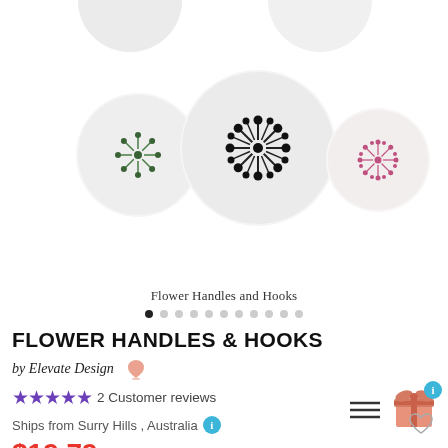[Figure (photo): Product photo showing several round ceramic drawer knobs/hooks with floral starburst designs in green, black, and pink on white ceramic, displayed on a white background.]
Flower Handles and Hooks
FLOWER HANDLES & HOOKS
by Elevate Design 🐨
★★★★★ 2 Customer reviews
Ships from Surry Hills , Australia ℹ
$19.79 $21.99 + Free AU Shipping
Or 4 payments of $4.95 with afterpay